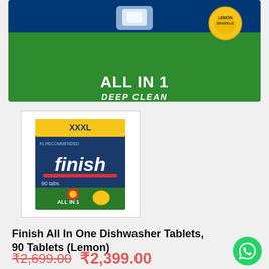[Figure (photo): Finish All In 1 Deep Clean product banner with green background showing 'ALL IN 1 DEEP CLEAN' text and a lemon sparkle badge]
[Figure (photo): Finish All In One Dishwasher Tablets XXXL box, 90 tablets, All In 1 Deep Clean variant, product thumbnail image]
Finish All In One Dishwasher Tablets, 90 Tablets (Lemon)
₹2,699.00  ₹2,399.00
Finish All in 1 tabs deliver a deep clean even in the